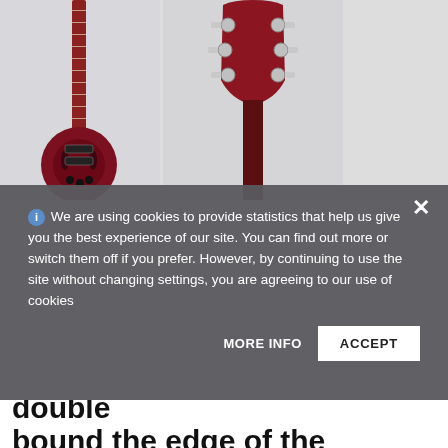[Figure (photo): Two photos of a red semi-hollow electric guitar. Left photo shows the full body of the guitar leaning against a white wall. Right photo shows a close-up of the guitar headstock with chrome tuning pegs.]
ⓘ We are using cookies to provide statistics that help us give you the best experience of our site. You can find out more or switch them off if you prefer. However, by continuing to use the site without changing settings, you are agreeing to our use of cookies
MORE INFO   ACCEPT
back. As the body was double bound the edge of the laminate